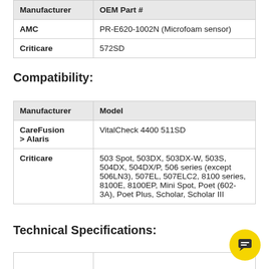| Manufacturer | OEM Part # |
| --- | --- |
| AMC | PR-E620-1002N (Microfoam sensor) |
| Criticare | 572SD |
Compatibility:
| Manufacturer | Model |
| --- | --- |
| CareFusion > Alaris | VitalCheck 4400 511SD |
| Criticare | 503 Spot, 503DX, 503DX-W, 503S, 504DX, 504DX/P, 506 series (except 506LN3), 507EL, 507ELC2, 8100 series, 8100E, 8100EP, Mini Spot, Poet (602-3A), Poet Plus, Scholar, Scholar III |
Technical Specifications: